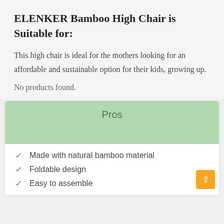ELENKER Bamboo High Chair is Suitable for:
This high chair is ideal for the mothers looking for an affordable and sustainable option for their kids, growing up.
No products found.
Pros
Made with natural bamboo material
Foldable design
Easy to assemble